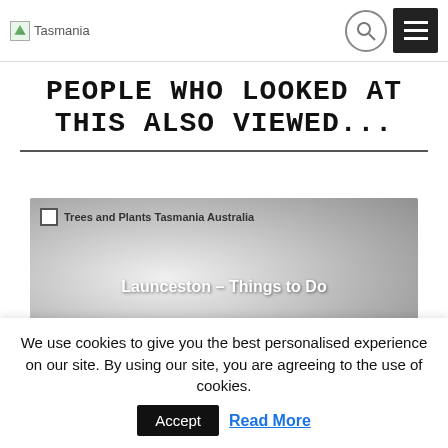Tasmania
PEOPLE WHO LOOKED AT THIS ALSO VIEWED...
[Figure (screenshot): A card image showing 'Launceston – Things to Do' with grey gradient background, overlaid on a thumbnail labeled 'Trees and Plants Tasmania Australia']
We use cookies to give you the best personalised experience on our site. By using our site, you are agreeing to the use of cookies.
Accept
Read More